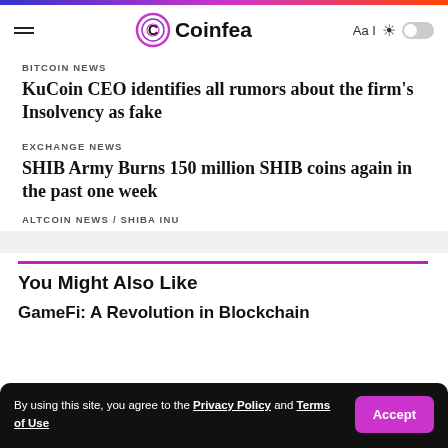Coinfea
BITCOIN NEWS
KuCoin CEO identifies all rumors about the firm's Insolvency as fake
EXCHANGE NEWS
SHIB Army Burns 150 million SHIB coins again in the past one week
ALTCOIN NEWS / SHIBA INU
You Might Also Like
GameFi: A Revolution in Blockchain
By using this site, you agree to the Privacy Policy and Terms of Use